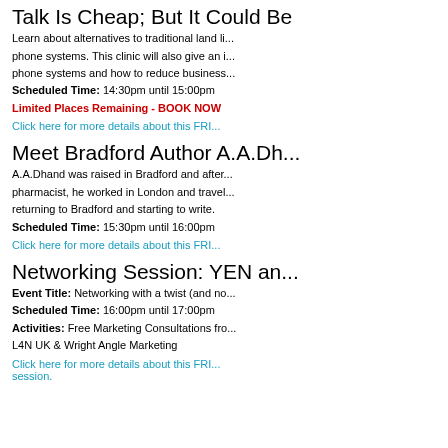Talk Is Cheap; But It Could Be...
Learn about alternatives to traditional land li... phone systems. This clinic will also give an i... phone systems and how to reduce business...
Scheduled Time: 14:30pm until 15:00pm
Limited Places Remaining - BOOK NOW
Click here for more details about this FRI...
Meet Bradford Author A.A.Dh...
A.A.Dhand was raised in Bradford and after... pharmacist, he worked in London and travel... returning to Bradford and starting to write.
Scheduled Time: 15:30pm until 16:00pm
Click here for more details about this FRI...
Networking Session: YEN an...
Event Title: Networking with a twist (and no... Scheduled Time: 16:00pm until 17:00pm Activities: Free Marketing Consultations fro... L4N UK & Wright Angle Marketing
Click here for more details about this FRI... session.